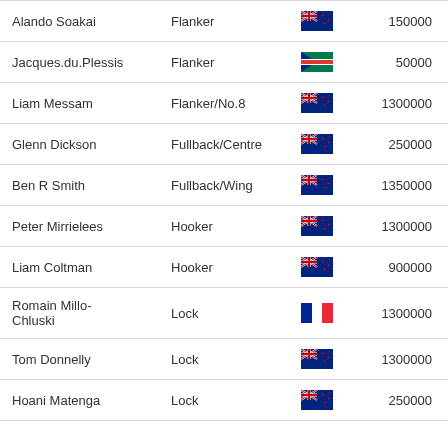| Name | Position | Nationality | Salary |
| --- | --- | --- | --- |
| Alando Soakai | Flanker | NZ | 150000 |
| Jacques.du.Plessis | Flanker | SA | 50000 |
| Liam Messam | Flanker/No.8 | NZ | 1300000 |
| Glenn Dickson | Fullback/Centre | NZ | 250000 |
| Ben R Smith | Fullback/Wing | NZ | 1350000 |
| Peter Mirrielees | Hooker | NZ | 1300000 |
| Liam Coltman | Hooker | NZ | 900000 |
| Romain Millo-Chluski | Lock | FR | 1300000 |
| Tom Donnelly | Lock | NZ | 1300000 |
| Hoani Matenga | Lock | NZ | 250000 |